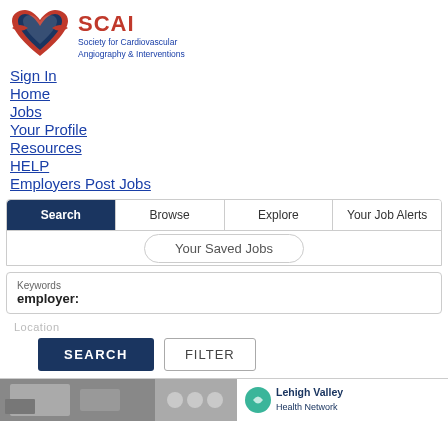[Figure (logo): SCAI logo — stylized heart shape in red/navy with 'SCAI' in red bold and 'Society for Cardiovascular Angiography & Interventions' in blue beneath]
Sign In
Home
Jobs
Your Profile
Resources
HELP
Employers Post Jobs
Search | Browse | Explore | Your Job Alerts | Your Saved Jobs
Keywords
employer:
Location
SEARCH   FILTER
[Figure (photo): Bottom strip with three partial image panels: left shows a hospital/office interior, center shows a group of people, right shows Lehigh Valley health system logo]